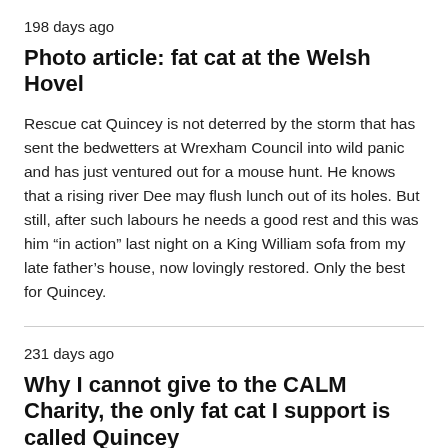198 days ago
Photo article: fat cat at the Welsh Hovel
Rescue cat Quincey is not deterred by the storm that has sent the bedwetters at Wrexham Council into wild panic and has just ventured out for a mouse hunt. He knows that a rising river Dee may flush lunch out of its holes. But still, after such labours he needs a good rest and this was him “in action” last night on a King William sofa from my late father’s house, now lovingly restored. Only the best for Quincey.
231 days ago
Why I cannot give to the CALM Charity, the only fat cat I support is called Quincey